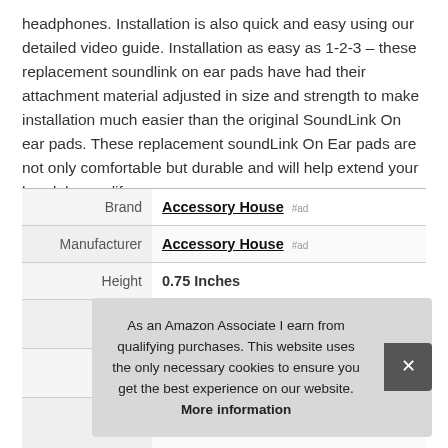headphones. Installation is also quick and easy using our detailed video guide. Installation as easy as 1-2-3 – these replacement soundlink on ear pads have had their attachment material adjusted in size and strength to make installation much easier than the original SoundLink On ear pads. These replacement soundLink On Ear pads are not only comfortable but durable and will help extend your headphones life.
|  |  |
| --- | --- |
| Brand | Accessory House #ad |
| Manufacturer | Accessory House #ad |
| Height | 0.75 Inches |
|  |  |
|  |  |
| P |  |
As an Amazon Associate I earn from qualifying purchases. This website uses the only necessary cookies to ensure you get the best experience on our website. More information